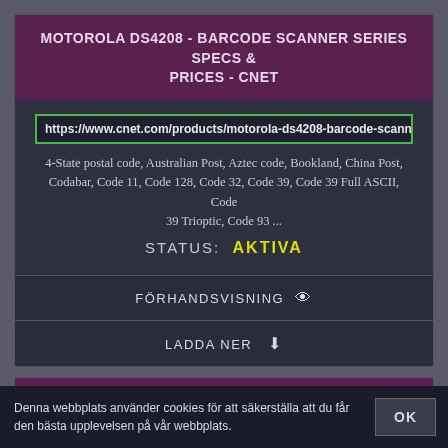MOTOROLA DS4208 - BARCODE SCANNER SERIES SPECS & PRICES - CNET
https://www.cnet.com/products/motorola-ds4208-barcode-scanner-series
4-State postal code, Australian Post, Aztec code, Bookland, China Post, Codabar, Code 11, Code 128, Code 32, Code 39, Code 39 Full ASCII, Code 39 Trioptic, Code 93 ...
STATUS: AKTIVA
FÖRHANDSVISNING 👁
LADDA NER ⬇
SAMSUNG UN65MU6070F 6 SERIES - 65" LED TV SPECS - CNET
Denna webbplats använder cookies för att säkerställa att du får den bästa upplevelsen på vår webbplats.